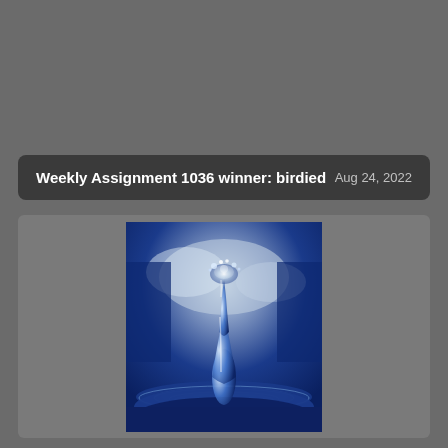Weekly Assignment 1036 winner: birdied    Aug 24, 2022
[Figure (photo): Close-up macro photograph of a water droplet splash column rising from a blue water surface, with a crown-like droplet at the top, against a blurred blue and white background.]